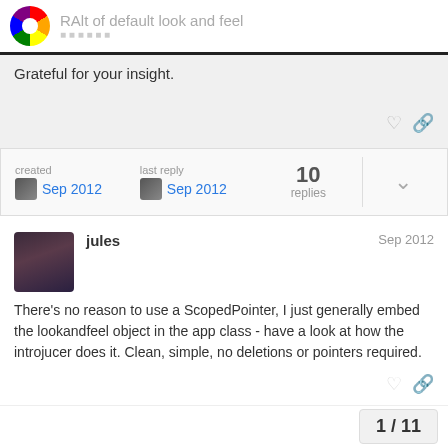RAlt of default look and feel
Grateful for your insight.
created Sep 2012 | last reply Sep 2012 | 10 replies
jules Sep 2012
There's no reason to use a ScopedPointer, I just generally embed the lookandfeel object in the app class - have a look at how the introjucer does it. Clean, simple, no deletions or pointers required.
1 / 11